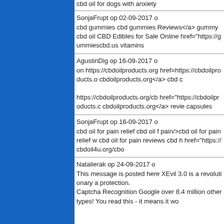cbd oil for dogs with anxiety
SonjaFrupt op 02-09-2017 o
cbd gummies cbd gummies Reviews</a> gummy cbd oil CBD Edibles for Sale Online href="https://gummiescbd.us vitamins
AgustinDig op 16-09-2017 o
on https://cbdoilproducts.org href=https://cbdoilproducts.o cbdoilproducts.org</a> cbd c

https://cbdoilproducts.org/cb href="https://cbdoilproducts.c cbdoilproducts.org</a> review capsules
SonjaFrupt op 16-09-2017 o
cbd oil for pain relief cbd oil f pain/>cbd oil for pain relief w cbd oil for pain reviews cbd h href="https://cbdoil4u.org/cbo
Natalierak op 24-09-2017 o
This message is posted here XEvil 3.0 is a revolutionary a protection.
Captcha Recognition Google over 8.4 million other types! You read this - it means it wo